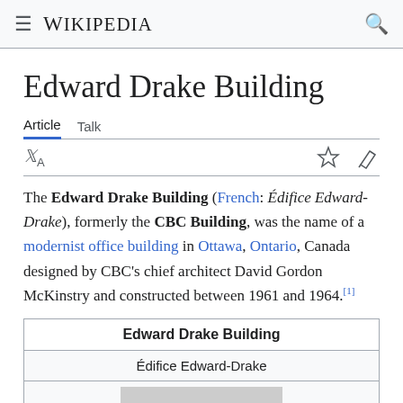Wikipedia
Edward Drake Building
Article  Talk
The Edward Drake Building (French: Édifice Edward-Drake), formerly the CBC Building, was the name of a modernist office building in Ottawa, Ontario, Canada designed by CBC's chief architect David Gordon McKinstry and constructed between 1961 and 1964.[1]
| Edward Drake Building |
| Édifice Edward-Drake |
| [image] |